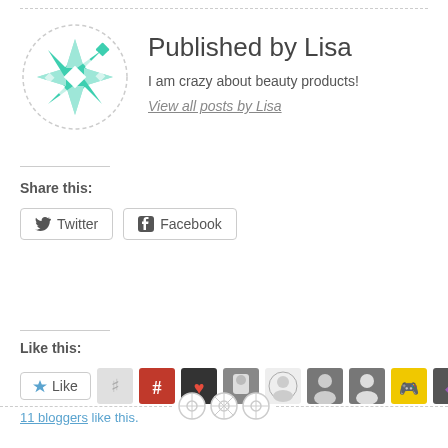Published by Lisa
I am crazy about beauty products!
View all posts by Lisa
Share this:
Twitter
Facebook
Like this:
Like
11 bloggers like this.